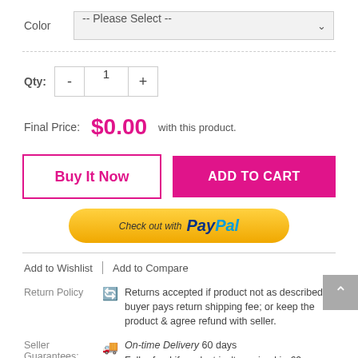Color  -- Please Select --
Qty: - 1 +
Final Price: $0.00 with this product.
Buy It Now
ADD TO CART
Check out with PayPal
Add to Wishlist | Add to Compare
Return Policy  Returns accepted if product not as described, buyer pays return shipping fee; or keep the product & agree refund with seller.
Seller Guarantees:  On-time Delivery 60 days Full refund if product isn't received in 60 days.